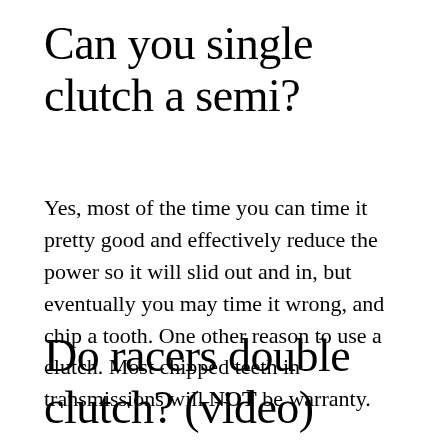Can you single clutch a semi?
Yes, most of the time you can time it pretty good and effectively reduce the power so it will slid out and in, but eventually you may time it wrong, and chip a tooth. One other reason to use a clutch. Most chipped teeth in transmissions will NOT be warranty.
Do racers double clutch? (video)